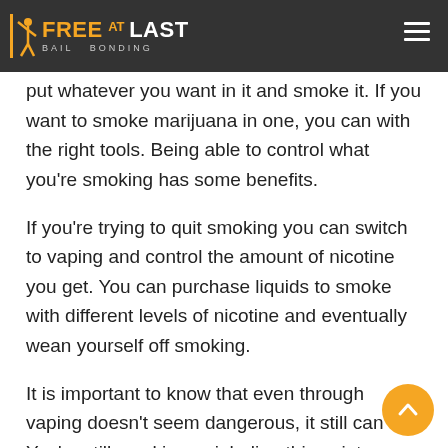FREE AT LAST BAIL BONDING
vaping is essentially smoking water vapors and flavors. However, there is more to it than that. It is usually done with an electric vaporizing contraption. You can put whatever you want in it and smoke it. If you want to smoke marijuana in one, you can with the right tools. Being able to control what you’re smoking has some benefits.
If you’re trying to quit smoking you can switch to vaping and control the amount of nicotine you get. You can purchase liquids to smoke with different levels of nicotine and eventually wean yourself off smoking.
It is important to know that even through vaping doesn’t seem dangerous, it still can be. You’re still smoking or inhaling things into your body.
Toxins, carcinogens, and other chemicals can enter your body from vaping.